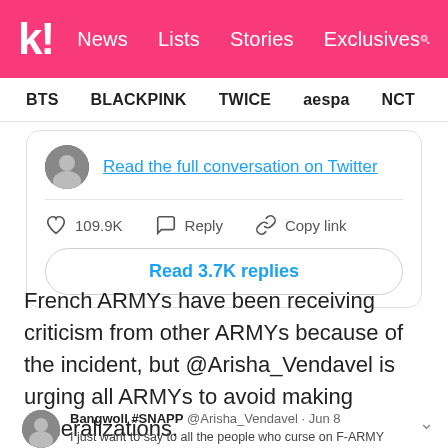kpopchart! | News | Lists | Stories | Exclusives
BTS   BLACKPINK   TWICE   aespa   NCT   IVE   ITZY
Read the full conversation on Twitter
109.9K   Reply   Copy link
Read 3.7K replies
French ARMYs have been receiving criticism from other ARMYs because of the incident, but @Arisha_Vendavel is urging all ARMYs to avoid making generalizations.
Bangwoll #SNAPP @Arisha_Vendavel · Jun 8
I just want to say to all the people who curse on F-ARMY right now that there